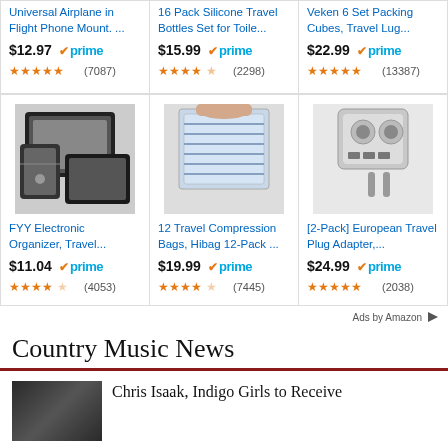[Figure (screenshot): Amazon product ad grid row 1: Universal Airplane in Flight Phone Mount ($12.97, prime, 4.5 stars, 7087 reviews), 16 Pack Silicone Travel Bottles Set for Toile... ($15.99, prime, 4 stars, 2298 reviews), Veken 6 Set Packing Cubes Travel Lug... ($22.99, prime, 4.5 stars, 13387 reviews)]
[Figure (screenshot): Amazon product ad grid row 2: FYY Electronic Organizer Travel... ($11.04, prime, 3.5 stars, 4053 reviews), 12 Travel Compression Bags Hibag 12-Pack... ($19.99, prime, 3.5 stars, 7445 reviews), [2-Pack] European Travel Plug Adapter... ($24.99, prime, 5 stars, 2038 reviews)]
Ads by Amazon
Country Music News
Chris Isaak, Indigo Girls to Receive